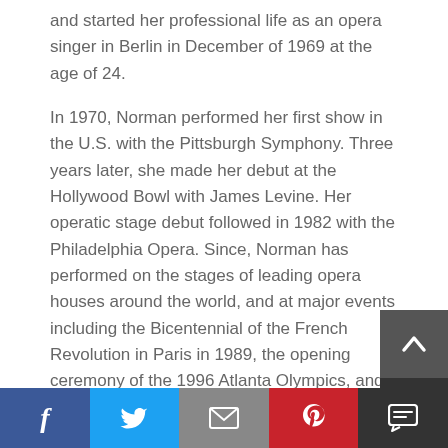and started her professional life as an opera singer in Berlin in December of 1969 at the age of 24.
In 1970, Norman performed her first show in the U.S. with the Pittsburgh Symphony. Three years later, she made her debut at the Hollywood Bowl with James Levine. Her operatic stage debut followed in 1982 with the Philadelphia Opera. Since, Norman has performed on the stages of leading opera houses around the world, and at major events including the Bicentennial of the French Revolution in Paris in 1989, the opening ceremony of the 1996 Atlanta Olympics, and one the Queen of England’s birthdays.
For 30 years, Norman found a tranquil retreat in her country home known as White Gates (a proper
[Figure (infographic): Social share bar with Facebook, Twitter, email, Pinterest, and comment buttons]